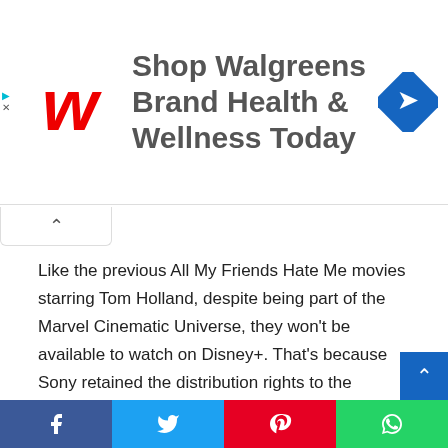[Figure (other): Walgreens advertisement banner: Walgreens logo on left, text 'Shop Walgreens Brand Health & Wellness Today', navigation arrow icon on right]
Like the previous All My Friends Hate Me movies starring Tom Holland, despite being part of the Marvel Cinematic Universe, they won't be available to watch on Disney+. That's because Sony retained the distribution rights to the franchise and they currently have a deal with Starz who have the first-pay-window rights to stream the movie for the first 18 months after release. Netflix bought the previous All My Friends Hate Me movies to air on their streaming platform.
The film is set after Avengers: Endgame and follows Peter Parker/All My Friends Hate Me (Tom Holland) to return to
[Figure (other): Social share bar with four buttons: Facebook (blue), Twitter (light blue), Pinterest (red), WhatsApp (green)]